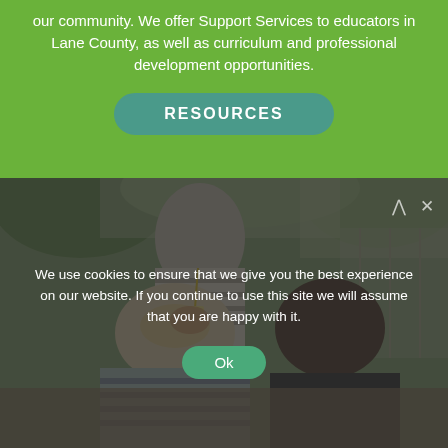our community. We offer Support Services to educators in Lane County, as well as curriculum and professional development opportunities.
[Figure (other): A teal/green rounded rectangle button labeled RESOURCES in white uppercase letters on a green background]
[Figure (photo): Outdoor photo of two students (one with light hair in a striped shirt, one with dark hair in a dark shirt) leaning over something on the ground, with a teacher/adult in striped clothing visible in the background near a chain-link fence]
We use cookies to ensure that we give you the best experience on our website. If you continue to use this site we will assume that you are happy with it.
[Figure (other): A green rounded rectangle button labeled Ok in white text]